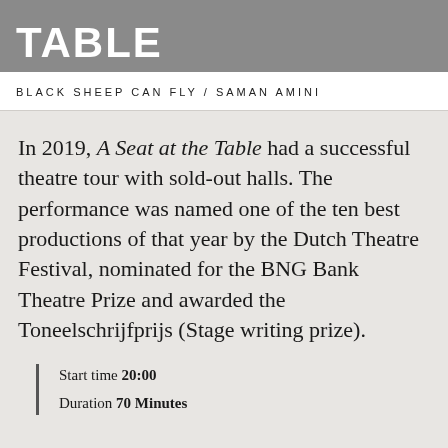TABLE
BLACK SHEEP CAN FLY / SAMAN AMINI
In 2019, A Seat at the Table had a successful theatre tour with sold-out halls. The performance was named one of the ten best productions of that year by the Dutch Theatre Festival, nominated for the BNG Bank Theatre Prize and awarded the Toneelschrijfprijs (Stage writing prize).
Start time 20:00
Duration 70 Minutes